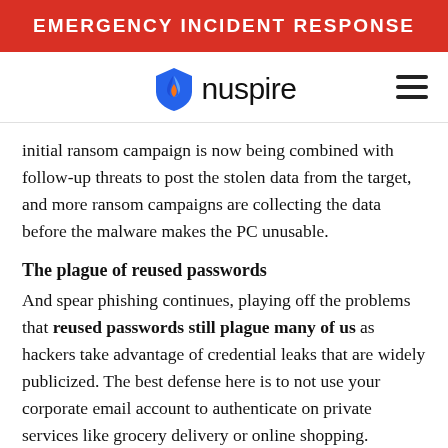EMERGENCY INCIDENT RESPONSE
[Figure (logo): Nuspire logo with blue shield/flame icon and hamburger menu icon on the right]
initial ransom campaign is now being combined with follow-up threats to post the stolen data from the target, and more ransom campaigns are collecting the data before the malware makes the PC unusable.
The plague of reused passwords
And spear phishing continues, playing off the problems that reused passwords still plague many of us as hackers take advantage of credential leaks that are widely publicized. The best defense here is to not use your corporate email account to authenticate on private services like grocery delivery or online shopping.